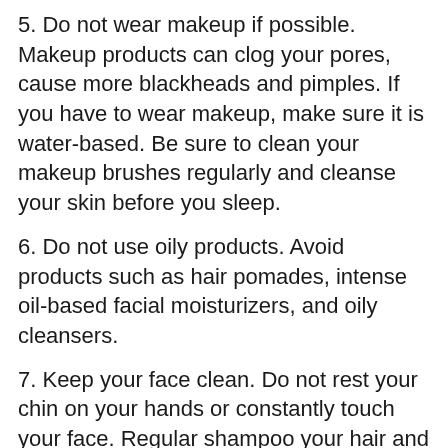5. Do not wear makeup if possible. Makeup products can clog your pores, cause more blackheads and pimples. If you have to wear makeup, make sure it is water-based. Be sure to clean your makeup brushes regularly and cleanse your skin before you sleep.
6. Do not use oily products. Avoid products such as hair pomades, intense oil-based facial moisturizers, and oily cleansers.
7. Keep your face clean. Do not rest your chin on your hands or constantly touch your face. Regular shampoo your hair and keep it off your face, especially when you sleep.
8. Exercise moderately as it helps in blood circulation and eliminataion of toxins.
9. Stay stress-free. Studies have shown that